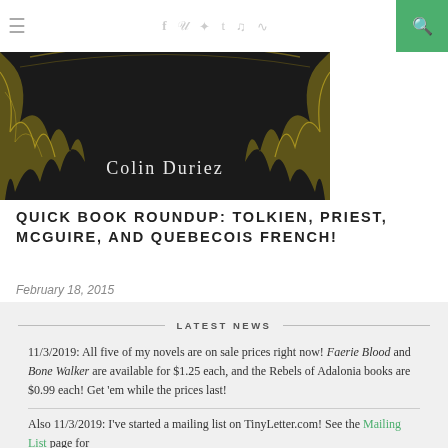≡  [social icons: f t p t soundcloud rss]  [search]
[Figure (illustration): Book cover with dark background and gold decorative design showing 'Colin Duriez' text]
QUICK BOOK ROUNDUP: TOLKIEN, PRIEST, MCGUIRE, AND QUEBECOIS FRENCH!
February 18, 2015
LATEST NEWS
11/3/2019: All five of my novels are on sale prices right now! Faerie Blood and Bone Walker are available for $1.25 each, and the Rebels of Adalonia books are $0.99 each! Get 'em while the prices last!
Also 11/3/2019: I've started a mailing list on TinyLetter.com! See the Mailing List page for